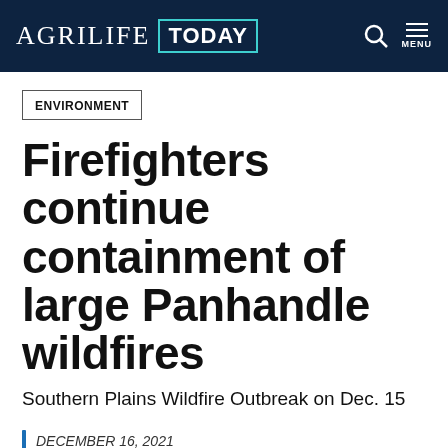AgriLife TODAY
ENVIRONMENT
Firefighters continue containment of large Panhandle wildfires
Southern Plains Wildfire Outbreak on Dec. 15
DECEMBER 16, 2021